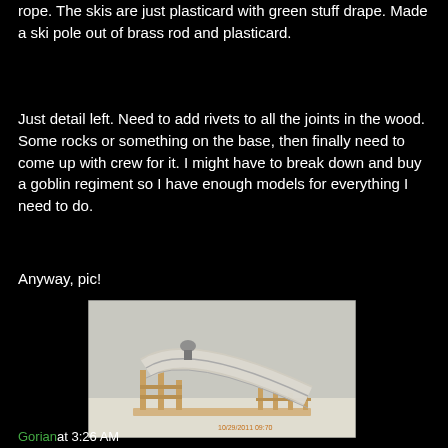rope. The skis are just plasticard with green stuff drape. Made a ski pole out of brass rod and plasticard.
Just detail left. Need to add rivets to all the joints in the wood. Some rocks or something on the base, then finally need to come up with crew for it. I might have to break down and buy a goblin regiment so I have enough models for everything I need to do.
Anyway, pic!
[Figure (photo): A handmade miniature model of a wooden ski jump ramp/structure with a small figure at the top, built from balsa wood or craft sticks, photographed against a white background. Timestamp on photo: 10/29/2011 09:70]
Gorian at 3:26 AM